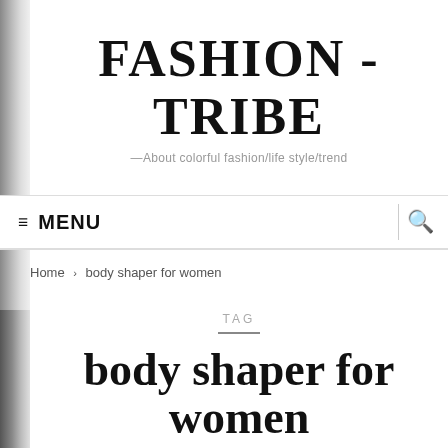FASHION - TRIBE
—About colorful fashion/life style/trend
≡ MENU
Home › body shaper for women
TAG
body shaper for women